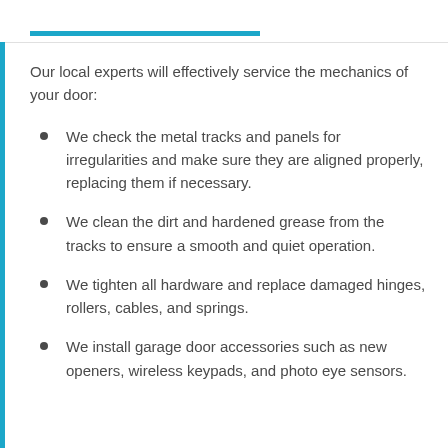Our local experts will effectively service the mechanics of your door:
We check the metal tracks and panels for irregularities and make sure they are aligned properly, replacing them if necessary.
We clean the dirt and hardened grease from the tracks to ensure a smooth and quiet operation.
We tighten all hardware and replace damaged hinges, rollers, cables, and springs.
We install garage door accessories such as new openers, wireless keypads, and photo eye sensors.